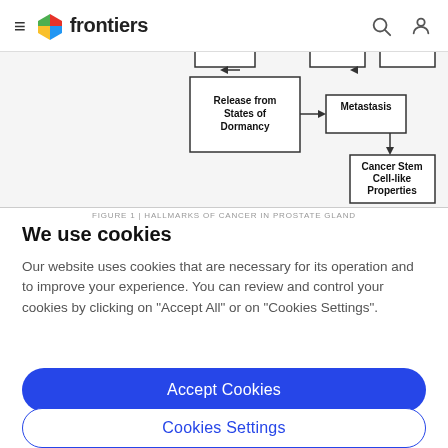frontiers
[Figure (flowchart): Partial flowchart showing boxes labeled 'Release from States of Dormancy', 'Metastasis', and 'Cancer Stem Cell-like Properties' connected by arrows, partially cropped at top.]
FIGURE 1 | HALLMARKS OF CANCER IN PROSTATE GLAND
We use cookies
Our website uses cookies that are necessary for its operation and to improve your experience. You can review and control your cookies by clicking on "Accept All" or on "Cookies Settings".